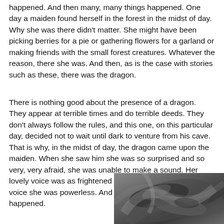happened.  And then many, many things happened. One day a maiden found herself in the forest in the midst of day.  Why she was there didn't matter.  She might have been picking berries for a pie or gathering flowers for a garland or making friends with the small forest creatures.  Whatever the reason, there she was.  And then, as is the case with stories such as these, there was the dragon.
There is nothing good about the presence of a dragon.  They appear at terrible times and do terrible deeds. They don't always follow the rules, and this one, on this particular day, decided not to wait until dark to venture from his cave.  That is why, in the midst of day, the dragon came upon the maiden.  When she saw him she was so surprised and so very, very afraid, she was unable to make a sound.  Her lovely voice was as frightened as she was.  Without her voice she was powerless.  And then terrible, terrible things happened.
[Figure (photo): A close-up black and white photograph of what appears to be a dragon or creature with textured, scaly or feathered features, rendered in grayscale.]